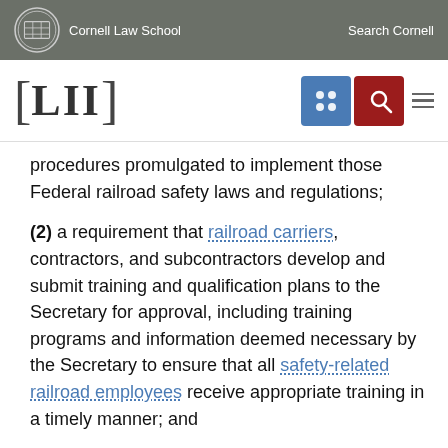Cornell Law School | Search Cornell
[Figure (logo): LII Legal Information Institute logo with navigation icons]
procedures promulgated to implement those Federal railroad safety laws and regulations;
(2) a requirement that railroad carriers, contractors, and subcontractors develop and submit training and qualification plans to the Secretary for approval, including training programs and information deemed necessary by the Secretary to ensure that all safety-related railroad employees receive appropriate training in a timely manner; and